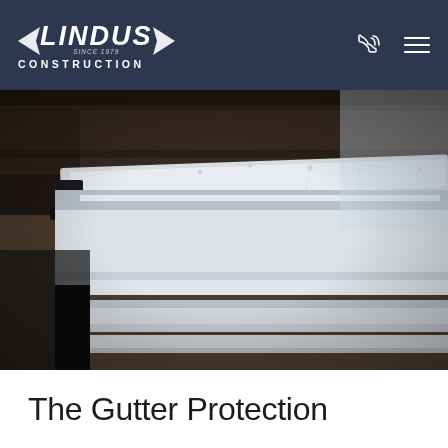LINDUS CONSTRUCTION
[Figure (photo): Close-up photo of a gutter and gutter guard system installed at the roofline, showing dark shingles, white aluminum gutter, black gutter bracket, and water droplets on the gutter guard surface.]
The Gutter Protection